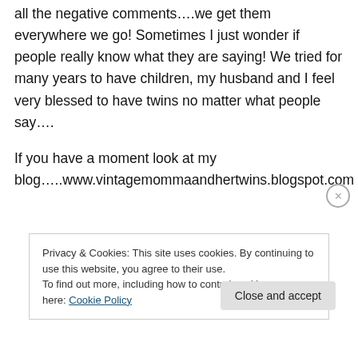all the negative comments….we get them everywhere we go! Sometimes I just wonder if people really know what they are saying! We tried for many years to have children, my husband and I feel very blessed to have twins no matter what people say….

If you have a moment look at my blog…..www.vintagemommaandhertwins.blogspot.com
Privacy & Cookies: This site uses cookies. By continuing to use this website, you agree to their use.
To find out more, including how to control cookies, see here: Cookie Policy
Close and accept